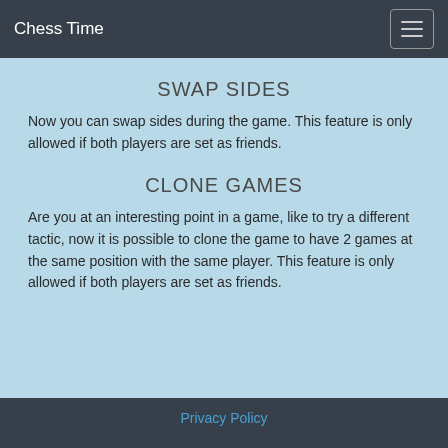Chess Time
SWAP SIDES
Now you can swap sides during the game.  This feature is only allowed if both players are set as friends.
CLONE GAMES
Are you at an interesting point in a game, like to try a different tactic, now it is possible to clone the game to have 2 games at the same position with the same player.  This feature is only allowed if both players are set as friends.
Privacy Policy